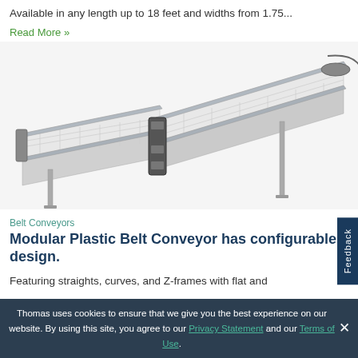Available in any length up to 18 feet and widths from 1.75...
Read More »
[Figure (photo): Modular plastic belt conveyor system showing two connected conveyor sections with white modular plastic belts and aluminum frames, one section curving at the top.]
Belt Conveyors
Modular Plastic Belt Conveyor has configurable design.
Featuring straights, curves, and Z-frames with flat and
Thomas uses cookies to ensure that we give you the best experience on our website. By using this site, you agree to our Privacy Statement and our Terms of Use.